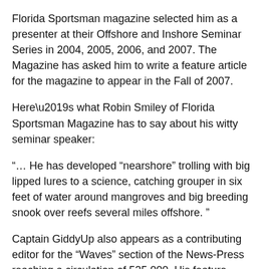Florida Sportsman magazine selected him as a presenter at their Offshore and Inshore Seminar Series in 2004, 2005, 2006, and 2007. The Magazine has asked him to write a feature article for the magazine to appear in the Fall of 2007.
Here’s what Robin Smiley of Florida Sportsman Magazine has to say about his witty seminar speaker:
“… He has developed “nearshore” trolling with big lipped lures to a science, catching grouper in six feet of water around mangroves and big breeding snook over reefs several miles offshore. ”
Captain GiddyUp also appears as a contributing editor for the “Waves” section of the News-Press reaching a circulation of 525,000. His feature “Nautically Speaking” appears in the Naples Daily News Boating & Fishing...